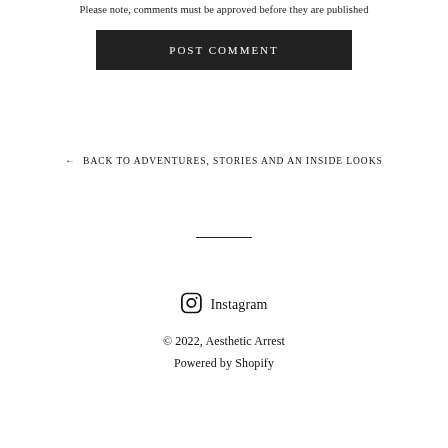Please note, comments must be approved before they are published
POST COMMENT
← BACK TO ADVENTURES, STORIES AND AN INSIDE LOOKS
Instagram
© 2022, Aesthetic Arrest
Powered by Shopify